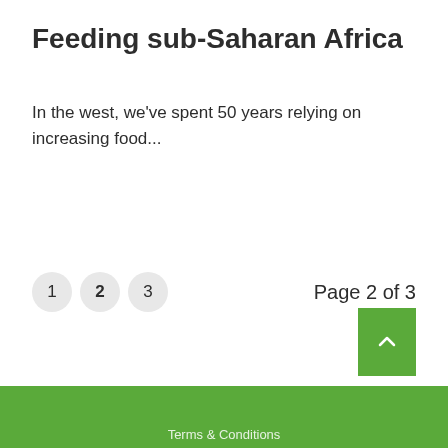Feeding sub-Saharan Africa
In the west, we've spent 50 years relying on increasing food...
1  2  3    Page 2 of 3
Terms & Conditions